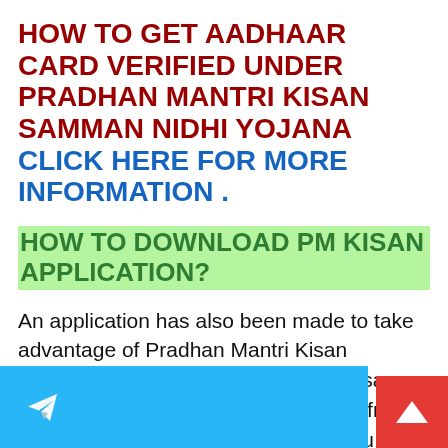HOW TO GET AADHAAR CARD VERIFIED UNDER PRADHAN MANTRI KISAN SAMMAN NIDHI YOJANA CLICK HERE FOR MORE INFORMATION .
HOW TO DOWNLOAD PM KISAN APPLICATION?
An application has also been made to take advantage of Pradhan Mantri Kisan Samman Nidhi Yojana, named PM Kisan Application, which you can download from Play Store. Under this application, you have been given all the information about Pradhan Mantri Kisan Samman Nidhi Yojana, to apply...